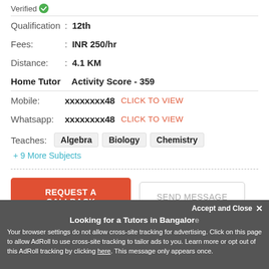Verified ✓
Qualification : 12th
Fees: : INR 250/hr
Distance: : 4.1 KM
Home Tutor   Activity Score - 359
Mobile: xxxxxxxx48   CLICK TO VIEW
Whatsapp: xxxxxxxx48   CLICK TO VIEW
Teaches: Algebra  Biology  Chemistry  + 9 More Subjects
REQUEST A CALLBACK
SEND MESSAGE
VIEW MORE
Looking for a Tutors in Bangalore
Accept and Close ×
Your browser settings do not allow cross-site tracking for advertising. Click on this page to allow AdRoll to use cross-site tracking to tailor ads to you. Learn more or opt out of this AdRoll tracking by clicking here. This message only appears once.